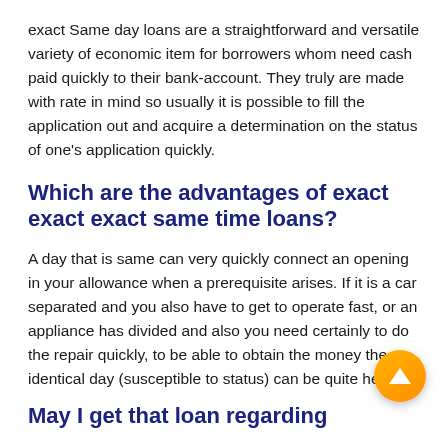exact Same day loans are a straightforward and versatile variety of economic item for borrowers whom need cash paid quickly to their bank-account. They truly are made with rate in mind so usually it is possible to fill the application out and acquire a determination on the status of one's application quickly.
Which are the advantages of exact exact exact same time loans?
A day that is same can very quickly connect an opening in your allowance when a prerequisite arises. If it is a car separated and you also have to get to operate fast, or an appliance has divided and also you need certainly to do the repair quickly, to be able to obtain the money the identical day (susceptible to status) can be quite helpful.
May I get that loan regarding